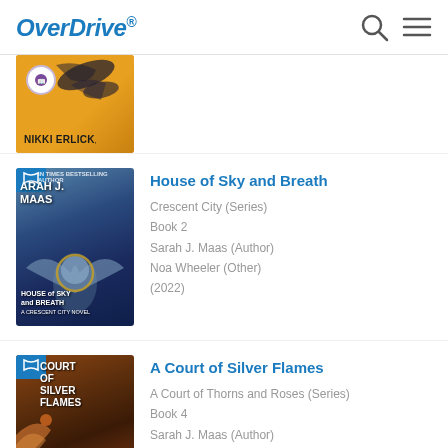OverDrive
[Figure (illustration): Partial book cover for a book by Nikki Erlick, yellow/orange background with abstract dark shapes, purple badge]
[Figure (illustration): Book cover for House of Sky and Breath by Sarah J. Maas, dark blue fantasy cover with winged figure]
House of Sky and Breath
Crescent City (Series)
Book 2
Sarah J. Maas (Author)
Noa Wheeler (Other)
(2022)
[Figure (illustration): Partial book cover for A Court of Silver Flames, dark brown/orange fantasy cover]
A Court of Silver Flames
A Court of Thorns and Roses (Series)
Book 4
Sarah J. Maas (Author)